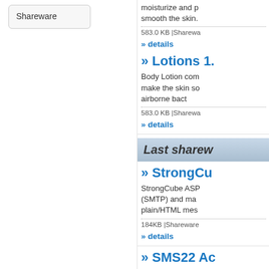Shareware
moisturize and p smooth the skin.
583.0 KB |Sharewa
» details
» Lotions 1.
Body Lotion com make the skin so airborne bact
583.0 KB |Shareware
» details
Last sharew
» StrongCu
StrongCube ASP (SMTP) and ma plain/HTML mes
184KB |Shareware
» details
» SMS22 Ac
SMS22 ActiveX/ cellular phone o